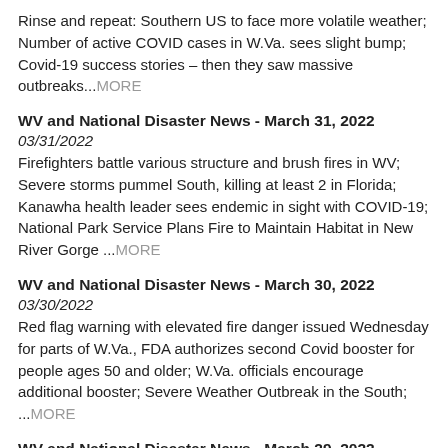Rinse and repeat: Southern US to face more volatile weather; Number of active COVID cases in W.Va. sees slight bump; Covid-19 success stories – then they saw massive outbreaks...MORE
WV and National Disaster News - March 31, 2022
03/31/2022
Firefighters battle various structure and brush fires in WV; Severe storms pummel South, killing at least 2 in Florida; Kanawha health leader sees endemic in sight with COVID-19; National Park Service Plans Fire to Maintain Habitat in New River Gorge ...MORE
WV and National Disaster News - March 30, 2022
03/30/2022
Red flag warning with elevated fire danger issued Wednesday for parts of W.Va., FDA authorizes second Covid booster for people ages 50 and older; W.Va. officials encourage additional booster; Severe Weather Outbreak in the South; ...MORE
WV and National Disaster News - March 29, 2022
03/29/2022